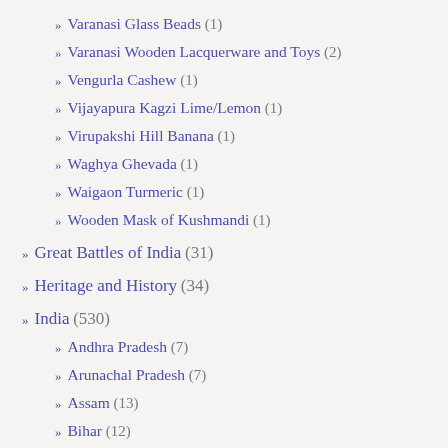Varanasi Glass Beads (1)
Varanasi Wooden Lacquerware and Toys (2)
Vengurla Cashew (1)
Vijayapura Kagzi Lime/Lemon (1)
Virupakshi Hill Banana (1)
Waghya Ghevada (1)
Waigaon Turmeric (1)
Wooden Mask of Kushmandi (1)
Great Battles of India (31)
Heritage and History (34)
India (530)
Andhra Pradesh (7)
Arunachal Pradesh (7)
Assam (13)
Bihar (12)
Chhattisgarh (6)